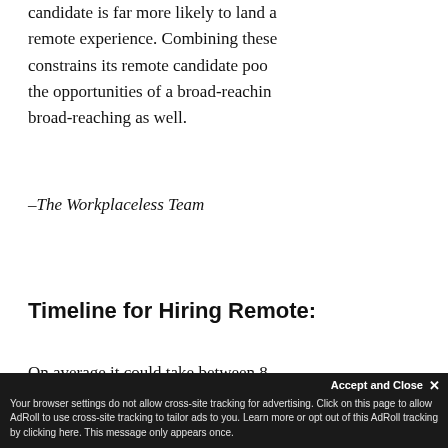candidate is far more likely to land a remote experience. Combining these constrains its remote candidate poo the opportunities of a broad-reachin broad-reaching as well.
–The Workplaceless Team
Timeline for Hiring Remote:
On average it could take between 8– live to the time we make an offer to f post the job for the first time. We wi erview in some cases. w complete the f rr nt
[Figure (other): Cookie/ad consent banner overlay at the bottom of the page. Dark background with text: 'Accept and Close ×' and 'Your browser settings do not allow cross-site tracking for advertising. Click on this page to allow AdRoll to use cross-site tracking to tailor ads to you. Learn more or opt out of this AdRoll tracking by clicking here. This message only appears once.']